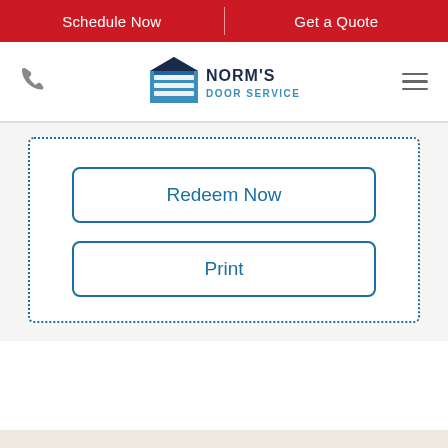Schedule Now | Get a Quote
[Figure (logo): Norm's Door Service logo with blue garage door icon and company name]
Redeem Now
Print